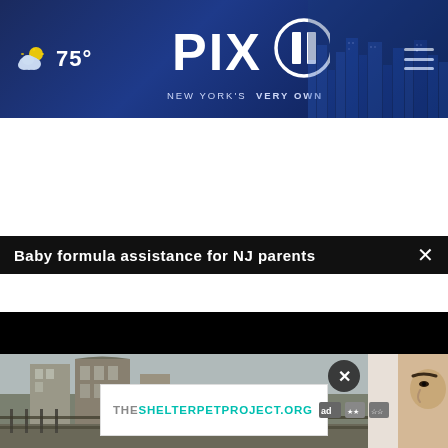[Figure (screenshot): PIX11 news website header with weather (75°F, cloudy), PIX11 logo with 'NEW YORK'S VERY OWN' tagline, city skyline background, and hamburger menu icon]
Baby formula assistance for NJ parents
[Figure (screenshot): Black video player area with a white loading spinner arc in the center, indicating a video is buffering]
[Figure (photo): News photo showing a street scene with buildings on the left, and a person's face (right side profile) on the far right]
[Figure (screenshot): Advertisement banner showing 'THESHELTERPETPROJECT.ORG' with ad council logos]